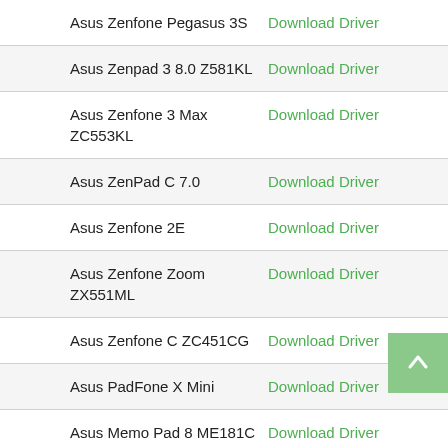| Device | Action |
| --- | --- |
| Asus Zenfone Pegasus 3S | Download Driver |
| Asus Zenpad 3 8.0 Z581KL | Download Driver |
| Asus Zenfone 3 Max ZC553KL | Download Driver |
| Asus ZenPad C 7.0 | Download Driver |
| Asus Zenfone 2E | Download Driver |
| Asus Zenfone Zoom ZX551ML | Download Driver |
| Asus Zenfone C ZC451CG | Download Driver |
| Asus PadFone X Mini | Download Driver |
| Asus Memo Pad 8 ME181C | Download Driver |